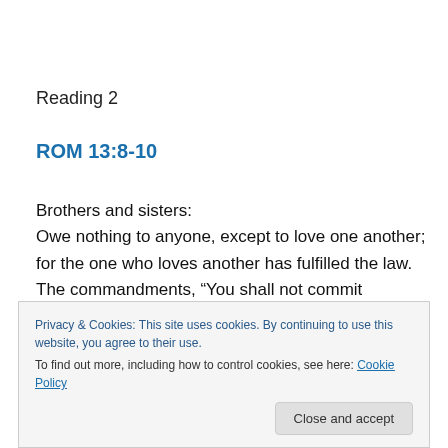Reading 2
ROM 13:8-10
Brothers and sisters:
Owe nothing to anyone, except to love one another; for the one who loves another has fulfilled the law. The commandments, “You shall not commit adultery; you shall not kill; you shall not steal; you shall not covet, ”
Privacy & Cookies: This site uses cookies. By continuing to use this website, you agree to their use.
To find out more, including how to control cookies, see here: Cookie Policy
Close and accept